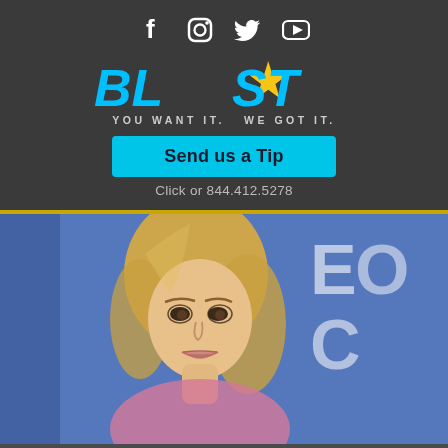[Figure (logo): Social media icons: Facebook, Instagram, Twitter, YouTube in white on dark background]
[Figure (logo): BLAST logo in cyan/blue bold italic text with yellow star, tagline: YOU WANT IT. WE GOT IT.]
Send us a Tip
Click or 844.412.5278
[Figure (photo): Photo of Britney Spears with blonde hair against a blue background]
Britney Spears' Pregnancy Food